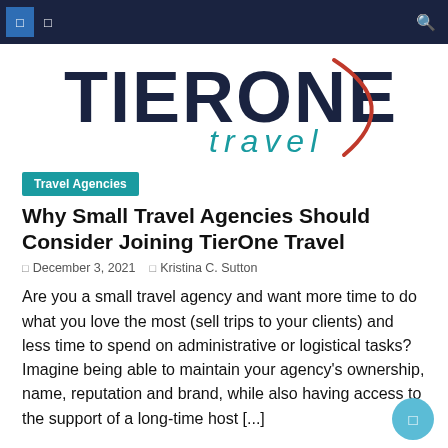Navigation bar with menu icons and search
[Figure (logo): Tier One Travel logo — large stylized text 'TIERONE' in dark navy with a red curved swoosh, and 'travel' in teal italic below]
Travel Agencies
Why Small Travel Agencies Should Consider Joining TierOne Travel
December 3, 2021   Kristina C. Sutton
Are you a small travel agency and want more time to do what you love the most (sell trips to your clients) and less time to spend on administrative or logistical tasks? Imagine being able to maintain your agency's ownership, name, reputation and brand, while also having access to the support of a long-time host [...]